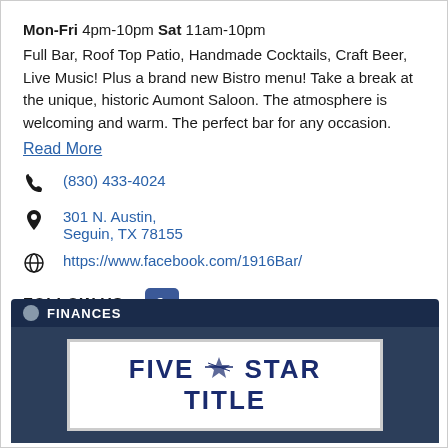Mon-Fri 4pm-10pm Sat 11am-10pm
Full Bar, Roof Top Patio, Handmade Cocktails, Craft Beer, Live Music! Plus a brand new Bistro menu! Take a break at the unique, historic Aumont Saloon. The atmosphere is welcoming and warm. The perfect bar for any occasion.
Read More
(830) 433-4024
301 N. Austin, Seguin, TX 78155
https://www.facebook.com/1916Bar/
FOLLOW US:
[Figure (other): Photo of Five Star Title sign with dark blue background overlay and FINANCES label banner]